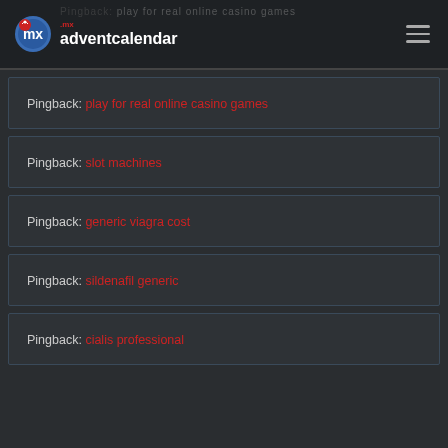mx adventcalendar
Pingback: play for real online casino games
Pingback: slot machines
Pingback: generic viagra cost
Pingback: sildenafil generic
Pingback: cialis professional